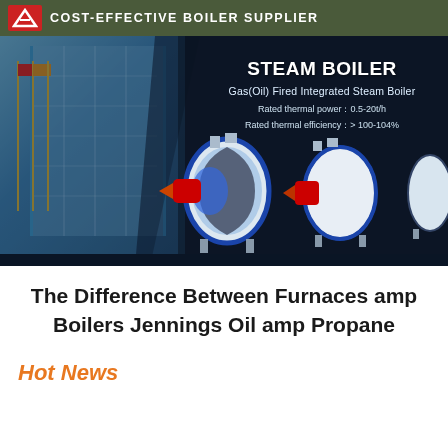COST-EFFECTIVE BOILER SUPPLIER
[Figure (photo): Steam boiler product banner showing multiple industrial gas/oil fired integrated steam boilers. Text overlay reads: STEAM BOILER, Gas(Oil) Fired Integrated Steam Boiler, Rated thermal power: 0.5-20t/h, Rated thermal efficiency: > 100-104%. Background shows a modern building with flagpoles.]
The Difference Between Furnaces amp Boilers Jennings Oil amp Propane
Hot News